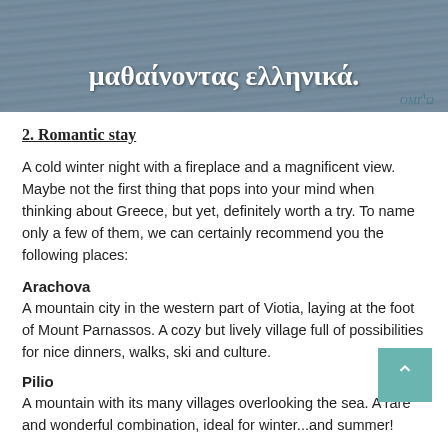[Figure (photo): A seascape/water background image with overlaid Greek text 'μαθαίνοντας ελληνικά.' in white, and an OMIΛΩ logo watermark in the bottom right corner.]
2. Romantic stay
A cold winter night with a fireplace and a magnificent view. Maybe not the first thing that pops into your mind when thinking about Greece, but yet, definitely worth a try. To name only a few of them, we can certainly recommend you the following places:
Arachova
A mountain city in the western part of Viotia, laying at the foot of Mount Parnassos. A cozy but lively village full of possibilities for nice dinners, walks, ski and culture.
Pilio
A mountain with its many villages overlooking the sea. A rare and wonderful combination, ideal for winter...and summer!